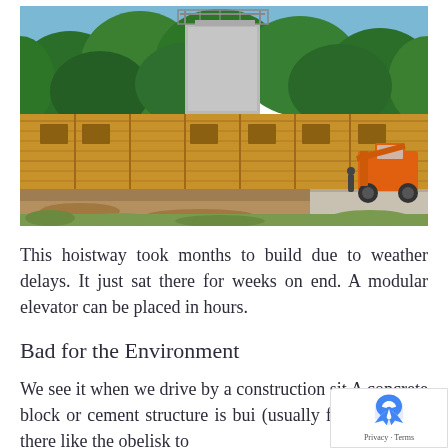[Figure (photo): Construction site photo showing a hoistway being built with wooden formwork/scaffolding, a concrete block tower structure rising in the background surrounded by trees, and an orange construction vehicle (telescopic forklift) visible on the right side. Dirt and construction materials visible in the foreground.]
This hoistway took months to build due to weather delays. It just sat there for weeks on end. A modular elevator can be placed in hours.
Bad for the Environment
We see it when we drive by a construction sit A concrete block or cement structure is bui (usually first) standing there like the obelisk to